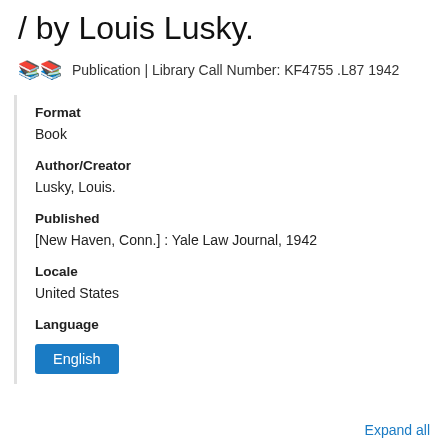/ by Louis Lusky.
Publication | Library Call Number: KF4755 .L87 1942
Format
Book
Author/Creator
Lusky, Louis.
Published
[New Haven, Conn.] : Yale Law Journal, 1942
Locale
United States
Language
English
Expand all